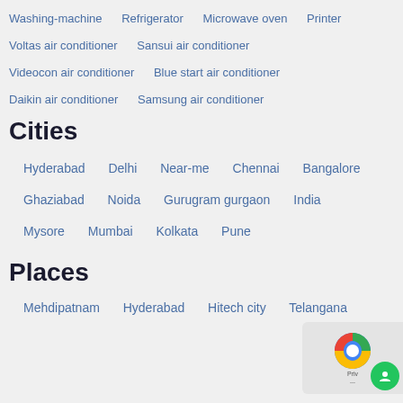Washing-machine   Refrigerator   Microwave oven   Printer
Voltas air conditioner   Sansui air conditioner
Videocon air conditioner   Blue start air conditioner
Daikin air conditioner   Samsung air conditioner
Cities
Hyderabad   Delhi   Near-me   Chennai   Bangalore
Ghaziabad   Noida   Gurugram gurgaon   India
Mysore   Mumbai   Kolkata   Pune
Places
Mehdipatnam   Hyderabad   Hitech city   Telangana